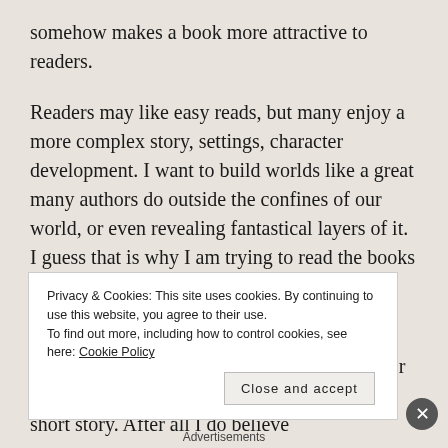somehow makes a book more attractive to readers.
Readers may like easy reads, but many enjoy a more complex story, settings, character development. I want to build worlds like a great many authors do outside the confines of our world, or even revealing fantastical layers of it. I guess that is why I am trying to read the books I am, to figure it out.
A Game of Thrones has inspiring phrases, or fragments of sentences that I might just use for some more poems, or maybe an attempt at a short story. After all I do believe
Privacy & Cookies: This site uses cookies. By continuing to use this website, you agree to their use.
To find out more, including how to control cookies, see here: Cookie Policy
Close and accept
Advertisements